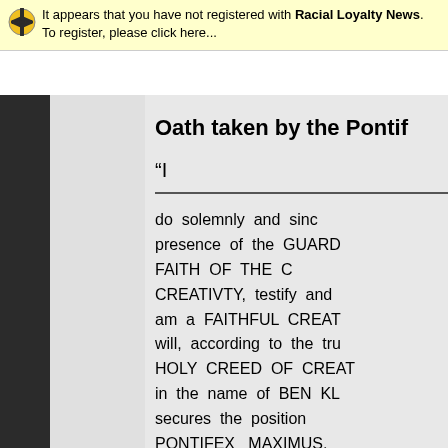It appears that you have not registered with Racial Loyalty News. To register, please click here...
Oath taken by the Pontif
“I
do solemnly and sincerely, in the presence of the GUARDIANS OF THE FAITH OF THE CHURCH OF CREATIVTY, testify and declare that I am a FAITHFUL CREATOR and that I will, according to the true spirit of our HOLY CREED OF CREATIVITY, and in the name of BEN KL... secures the position of PONTIFEX MAXIMUS, maintain the CHURCH O... to the best of my power... our HOLY CREED, for t...